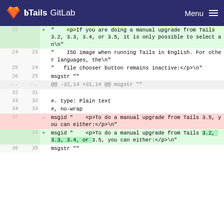Tails GitLab  Menu
[Figure (screenshot): GitLab diff view showing changes to a .po translation file. Lines 22-26 show context and unchanged lines. Line 35 is removed (red): msgid "   <p>To do a manual upgrade from Tails 3.5, you can either:</p>\n". Line 34 is added (green): msgid "   <p>To do a manual upgrade from Tails 3.2, 3.3, 3.4, or 3.5, you can either:</p>\n". Lines 36/35 show msgstr "".]